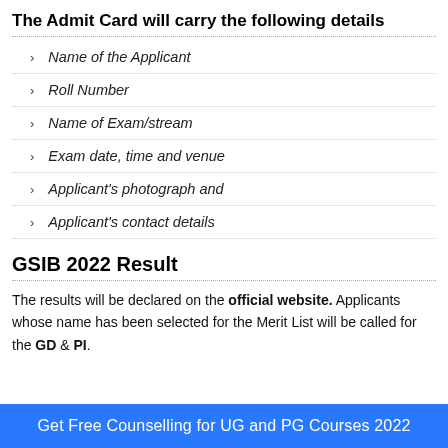The Admit Card will carry the following details
Name of the Applicant
Roll Number
Name of Exam/stream
Exam date, time and venue
Applicant's photograph and
Applicant's contact details
GSIB 2022 Result
The results will be declared on the official website. Applicants whose name has been selected for the Merit List will be called for the GD & PI.
Get Free Counselling for UG and PG Courses 2022